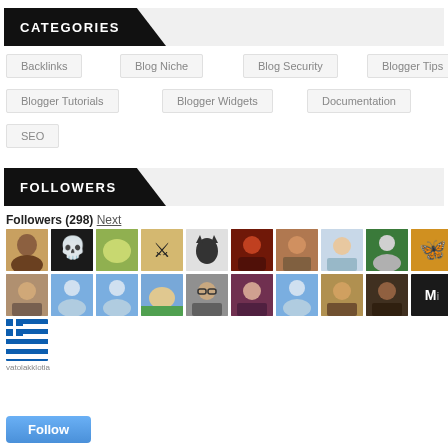CATEGORIES
Backlinks
Blog Niche
Blog Security
Blogger Tips
Blogger Tutorials
Blogger Widgets
Documentation
SEO
FOLLOWERS
Followers (298) Next
[Figure (photo): Grid of follower avatar profile pictures, two rows of 10 avatars each, plus one additional avatar in a third row]
Follow